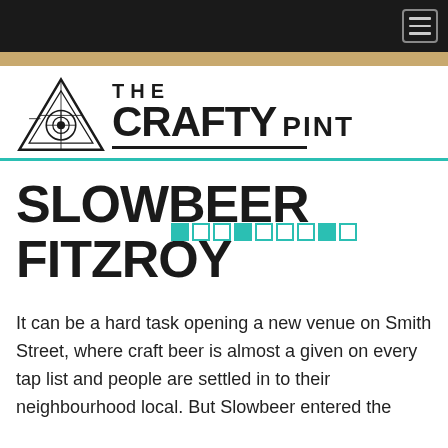Navigation bar with hamburger menu
[Figure (logo): The Crafty Pint logo with triangle/eye geometric symbol and bold text reading THE CRAFTY PINT]
SLOWBEER FITZROY
It can be a hard task opening a new venue on Smith Street, where craft beer is almost a given on every tap list and people are settled in to their neighbourhood local. But Slowbeer entered the